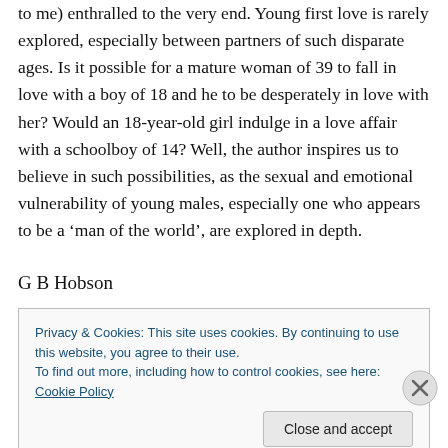to me) enthralled to the very end. Young first love is rarely explored, especially between partners of such disparate ages. Is it possible for a mature woman of 39 to fall in love with a boy of 18 and he to be desperately in love with her? Would an 18-year-old girl indulge in a love affair with a schoolboy of 14? Well, the author inspires us to believe in such possibilities, as the sexual and emotional vulnerability of young males, especially one who appears to be a 'man of the world', are explored in depth.
G B Hobson
Privacy & Cookies: This site uses cookies. By continuing to use this website, you agree to their use.
To find out more, including how to control cookies, see here: Cookie Policy